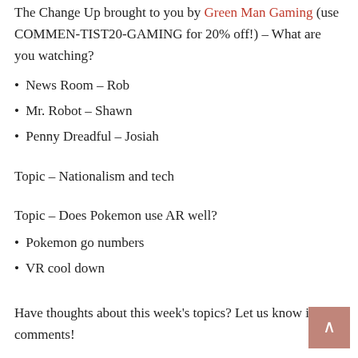The Change Up brought to you by Green Man Gaming (use COMMEN-TIST20-GAMING for 20% off!) – What are you watching?
News Room – Rob
Mr. Robot – Shawn
Penny Dreadful – Josiah
Topic – Nationalism and tech
Topic – Does Pokemon use AR well?
Pokemon go numbers
VR cool down
Have thoughts about this week's topics? Let us know in the comments!